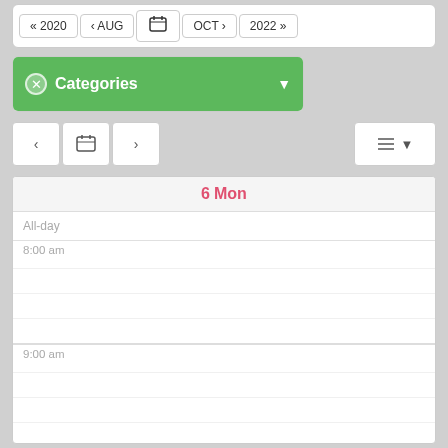[Figure (screenshot): Calendar navigation bar with year/month navigation buttons: « 2020, < AUG, calendar icon, OCT >, 2022 »]
[Figure (screenshot): Green Categories filter button with X icon and dropdown arrow]
[Figure (screenshot): Day navigation controls: left arrow, calendar icon, right arrow; list view button on right]
[Figure (screenshot): Day calendar view showing 6 Mon with time slots: All-day, 8:00 am, 9:00 am, 10:00 am, 11:00 am, 12:00 pm]